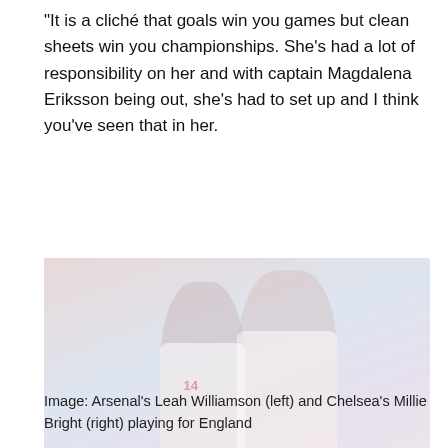“It is a cliché that goals win you games but clean sheets win you championships. She’s had a lot of responsibility on her and with captain Magdalena Eriksson being out, she’s had to set up and I think you’ve seen that in her.
[Figure (photo): Two England women's football players in white shirts on a pitch with a blurred red/pink background. The player on the left wears number 14. Identified as Arsenal's Leah Williamson (left) and Chelsea's Millie Bright (right).]
Image: Arsenal’s Leah Williamson (left) and Chelsea’s Millie Bright (right) playing for England